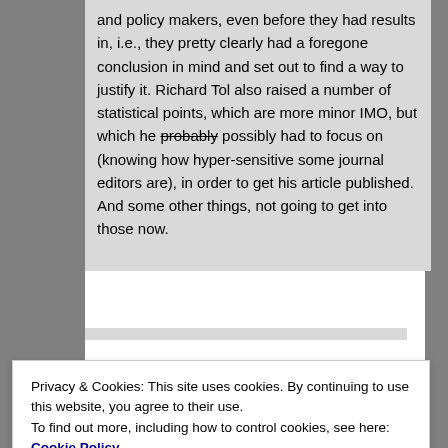and policy makers, even before they had results in, i.e., they pretty clearly had a foregone conclusion in mind and set out to find a way to justify it. Richard Tol also raised a number of statistical points, which are more minor IMO, but which he probably possibly had to focus on (knowing how hyper-sensitive some journal editors are), in order to get his article published. And some other things, not going to get into those now.
Privacy & Cookies: This site uses cookies. By continuing to use this website, you agree to their use. To find out more, including how to control cookies, see here: Cookie Policy